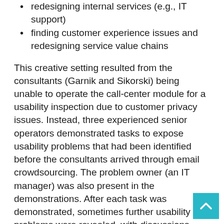redesigning internal services (e.g., IT support)
finding customer experience issues and redesigning service value chains
This creative setting resulted from the consultants (Garnik and Sikorski) being unable to operate the call-center module for a usability inspection due to customer privacy issues. Instead, three experienced senior operators demonstrated tasks to expose usability problems that had been identified before the consultants arrived through email crowdsourcing. The problem owner (an IT manager) was also present in the demonstrations. After each task was demonstrated, sometimes further usability problems were revealed, with discussions adding insights on problems with operator UX and customer experience (CX). Causal analysis identified factors beyond the target module's user interface. Brainstorming on possible solutions was supported by advice on feasibility from the IT manager and on